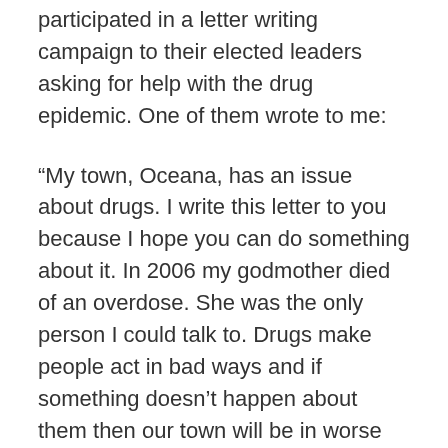participated in a letter writing campaign to their elected leaders asking for help with the drug epidemic. One of them wrote to me:
“My town, Oceana, has an issue about drugs. I write this letter to you because I hope you can do something about it. In 2006 my godmother died of an overdose. She was the only person I could talk to. Drugs make people act in bad ways and if something doesn’t happen about them then our town will be in worse shape.”
M. President, these are young children, and their desperation is just heartbreaking. These students want a better life for their parents, their